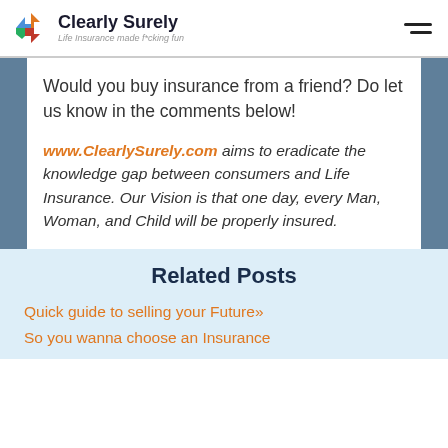Clearly Surely – Life Insurance made f*cking fun
Would you buy insurance from a friend? Do let us know in the comments below!
www.ClearlySurely.com aims to eradicate the knowledge gap between consumers and Life Insurance. Our Vision is that one day, every Man, Woman, and Child will be properly insured.
Related Posts
Quick guide to selling your Future»
So you wanna choose an Insurance